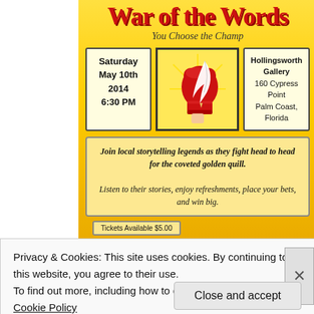War of the Words
You Choose the Champ
[Figure (illustration): A boxing glove holding a quill/feather pen, with rays of light emanating from it on a yellow background]
Saturday
May 10th
2014
6:30 PM
Hollingsworth Gallery
160 Cypress Point
Palm Coast, Florida
Join local storytelling legends as they fight head to head for the coveted golden quill.

Listen to their stories, enjoy refreshments, place your bets, and win big.
Tickets Available $5.00
Privacy & Cookies: This site uses cookies. By continuing to use this website, you agree to their use.
To find out more, including how to control cookies, see here: Cookie Policy